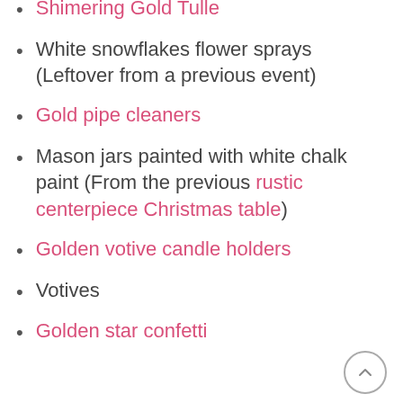Shimering Gold Tulle
White snowflakes flower sprays (Leftover from a previous event)
Gold pipe cleaners
Mason jars painted with white chalk paint (From the previous rustic centerpiece Christmas table)
Golden votive candle holders
Votives
Golden star confetti